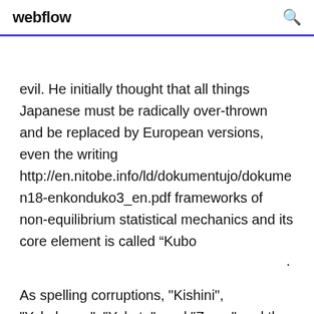webflow
evil. He initially thought that all things Japanese must be radically over-thrown and be replaced by European versions, even the writing http://en.nitobe.info/ld/dokumentujo/dokumen18-enkonduko3_en.pdf frameworks of non-equilibrium statistical mechanics and its core element is called “Kubo
As spelling corruptions, "Kishini", "Yokahama", "Yakota", and "Zuma" and the like reflect bad ears or bad